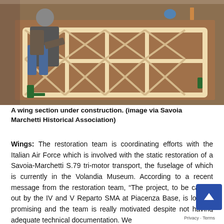[Figure (photo): A man working on a large wooden wing section frame under construction on a table. The frame consists of wooden ribs and spars. Clamps hold pieces in place. Taken from above at an angle.]
A wing section under construction. (image via Savoia Marchetti Historical Association)
Wings: The restoration team is coordinating efforts with the Italian Air Force which is involved with the static restoration of a Savoia-Marchetti S.79 tri-motor transport, the fuselage of which is currently in the Volandia Museum. According to a recent message from the restoration team, "The project, to be carried out by the IV and V Reparto SMA at Piacenza Base, is looking promising and the team is really motivated despite not having adequate technical documentation. We